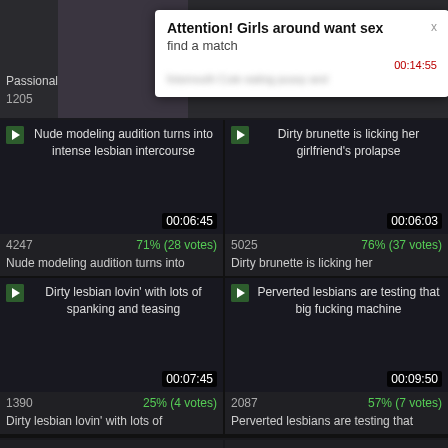[Figure (screenshot): Adult video website screenshot showing a popup ad overlay and video thumbnails grid with titles, view counts, and ratings]
Attention! Girls around want sex
find a match
Nude modeling audition turns into intense lesbian intercourse
00:06:45
4247  71% (28 votes)
Dirty brunette is licking her girlfriend's prolapse
00:06:03
5025  76% (37 votes)
Dirty lesbian lovin' with lots of spanking and teasing
00:07:45
1390  25% (4 votes)
Perverted lesbians are testing that big fucking machine
00:09:50
2087  57% (7 votes)
Black ladies are passionate to try
Teens in tiny lingerie finally indulge